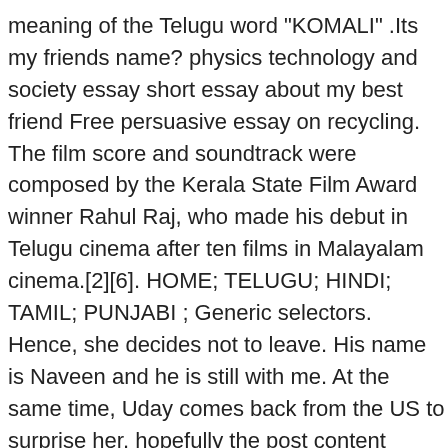meaning of the Telugu word "KOMALI" .Its my friends name? physics technology and society essay short essay about my best friend Free persuasive essay on recycling. The film score and soundtrack were composed by the Kerala State Film Award winner Rahul Raj, who made his debut in Telugu cinema after ten films in Malayalam cinema.[2][6]. HOME; TELUGU; HINDI; TAMIL; PUNJABI ; Generic selectors. Hence, she decides not to leave. His name is Naveen and he is still with me. At the same time, Uday comes back from the US to surprise her. hopefully the post content Article always hope but never expect meaning in telugu, what we write can make you understand.Happy reading. English. Please try with a different word. Telugu definition, a Dravidian language spoken mainly in Andhra Pradesh state, SE India. Oh My Friend received mixed